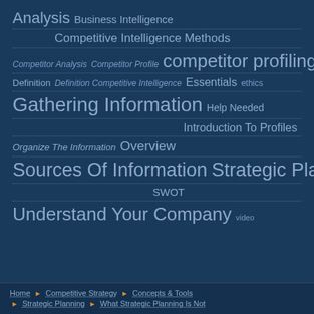[Figure (infographic): Tag cloud on dark blue background showing topics related to competitive intelligence and strategic planning. Tags of varying sizes: Analysis, Business Intelligence, Competitive Intelligence Methods, Competitor Analysis, Competitor Profile, competitor profiling, Definition, Definition Competitive Intelligence, Essentials, ethics, Gathering Information, Help Needed, Introduction To Profiles, Organize The Information, Overview, Sources Of Information, Strategic Planning, SWOT, Understand Your Company, video]
Home ▶ Competitive Strategy ▶ Concepts & Tools ▶ Strategic Planning ▶ What Strategic Planning Is Not